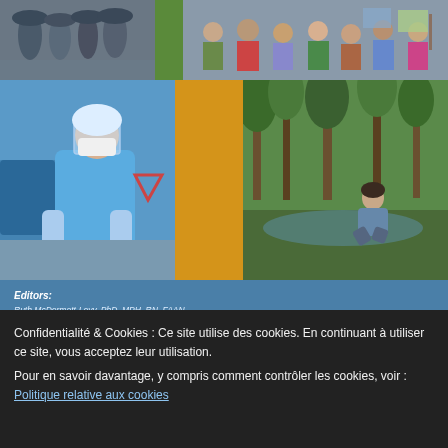[Figure (photo): Collage of three photos in top row: people walking in rain on left, green color block in center, group of children/people on right]
[Figure (photo): Collage of three panels in middle row: healthcare worker in PPE (blue gown, face shield, mask) administering a test on left, orange color block in center, person crouching near water in forest on right]
Editors:
Ruth McDermott-Levy, PhD, MPH, RN, FAAN
Kathryn P. Jackman-Murphy, EdD, MSN, RN, CHSE
Jeanne Leffers, PhD, RN, FAAN
Adelita G. Cantu, PhD, RN, FAAN
by EMR Australia PL - Newsletter Environmental Health
Confidentialité & Cookies : Ce site utilise des cookies. En continuant à utiliser ce site, vous acceptez leur utilisation.
Pour en savoir davantage, y compris comment contrôler les cookies, voir : Politique relative aux cookies
Fermer et accepter
CONTINUER LA LECTURE DE